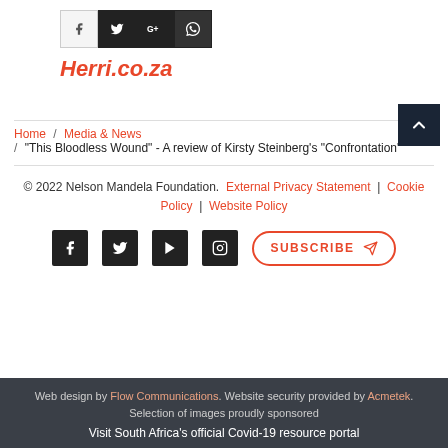[Figure (other): Social sharing icons: Facebook (light), Twitter (dark), Google+ (dark), WhatsApp (dark)]
Herri.co.za
[Figure (other): Scroll-to-top button with up arrow, dark background]
Home / Media & News / "This Bloodless Wound" - A review of Kirsty Steinberg's "Confrontation"
© 2022 Nelson Mandela Foundation. External Privacy Statement | Cookie Policy | Website Policy
[Figure (other): Footer social icons: Facebook, Twitter, YouTube, Instagram; Subscribe button]
Web design by Flow Communications. Website security provided by Acmetek. Selection of images proudly sponsored
Visit South Africa's official Covid-19 resource portal